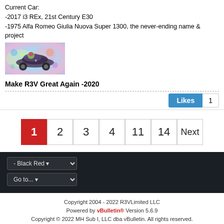Current Car:
-2017 i3 REx, 21st Century E30
-1975 Alfa Romeo Giulia Nuova Super 1300, the never-ending name & project
[Figure (illustration): Colorful illustrated/psychedelic image of a vintage racing car]
Make R3V Great Again -2020
Likes 1
1
2
3
4
11
14
Next
- Black Red
Go to...
Copyright 2004 - 2022 R3VLimited LLC
Powered by vBulletin® Version 5.6.9
Copyright © 2022 MH Sub I, LLC dba vBulletin. All rights reserved.
All times are GMT-8. This page was generated at 09:22 PM.